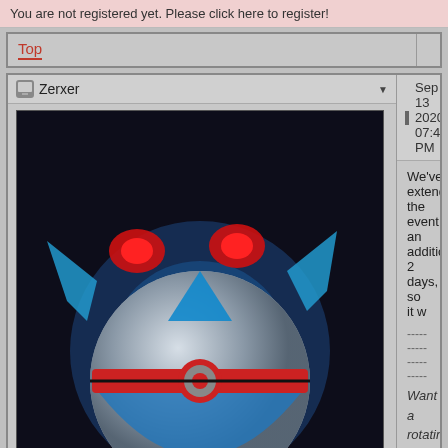You are not registered yet. Please click here to register!
Top
Zerxer
Sep 13 2020, 07:42 PM
[Figure (illustration): Dark background illustration of a stylized Pokemon ball (Dusk Ball) with red glowing eyes and blue fins/wings]
Zerkadelic
[Figure (illustration): Root Administrator badge with orange background and fantasy character]
Group: Root Administrators
Posts: 3 681
Joined: 11 June 07
We've extended the event an additional 2 days, so it w
--------------------
Want a rotating avatar like mine? Check out my webs
Thanks to all of the people in this thread and this thre
[Figure (illustration): Small card with snowflakes and anime-style character, partly visible at bottom right]